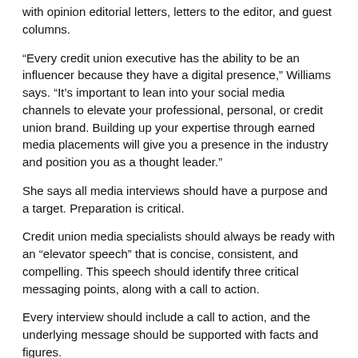with opinion editorial letters, letters to the editor, and guest columns.
“Every credit union executive has the ability to be an influencer because they have a digital presence,” Williams says. “It’s important to lean into your social media channels to elevate your professional, personal, or credit union brand. Building up your expertise through earned media placements will give you a presence in the industry and position you as a thought leader.”
She says all media interviews should have a purpose and a target. Preparation is critical.
Credit union media specialists should always be ready with an “elevator speech” that is concise, consistent, and compelling. This speech should identify three critical messaging points, along with a call to action.
Every interview should include a call to action, and the underlying message should be supported with facts and figures.
Williams notes that credit unions have CUNA as resource, both for information and to share their stories to a wider national audience.